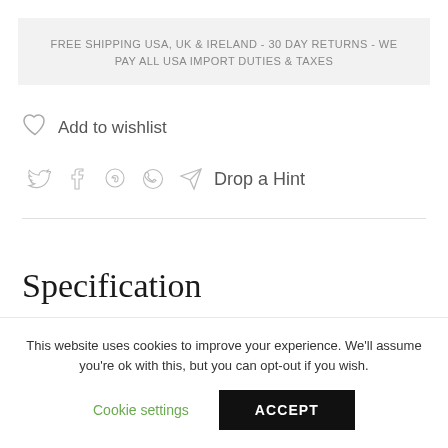FREE SHIPPING USA, UK & IRELAND - 30 DAY RETURNS - WE PAY ALL USA IMPORT DUTIES & TAXES
♡ Add to wishlist
🐦 f 𝒫 💬 ✈ Drop a Hint
Specification
This website uses cookies to improve your experience. We'll assume you're ok with this, but you can opt-out if you wish.
Cookie settings  ACCEPT